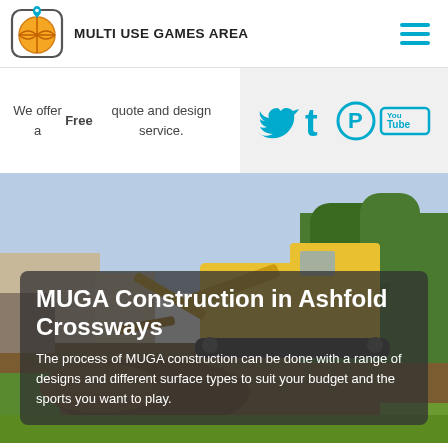[Figure (logo): Multi Use Games Area basketball logo icon — basketball inside a rounded square with a location pin]
MULTI USE GAMES AREA
[Figure (illustration): Hamburger menu icon — three horizontal cyan/teal bars]
We offer a Free quote and design service.
[Figure (infographic): Social media icons: Twitter bird, Tumblr t, Pinterest P, YouTube logo — all in cyan/teal on light grey background]
[Figure (photo): Construction site photo showing a yellow excavator digging on a grass area with trees and buildings in background]
MUGA Construction in Ashfold Crossways
The process of MUGA construction can be done with a range of designs and different surface types to suit your budget and the sports you want to play.